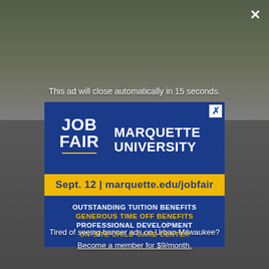This ad will close automatically in 15 seconds.
[Figure (infographic): Marquette University Job Fair advertisement. Blue background with shield logo showing JOB FAIR on the left and MARQUETTE UNIVERSITY in large white text on the right. Gold band below with 'Sept. 12 | marquette.edu/jobfair'. Dark blue section listing: OUTSTANDING TUITION BENEFITS (white), GENEROUS TIME OFF BENEFITS (gold), PROFESSIONAL DEVELOPMENT (white), ON-SITE CHILD CARE CENTER (gold).]
Tired of seeing banner ads on Urban Milwaukee?
Become a member for $9/month.